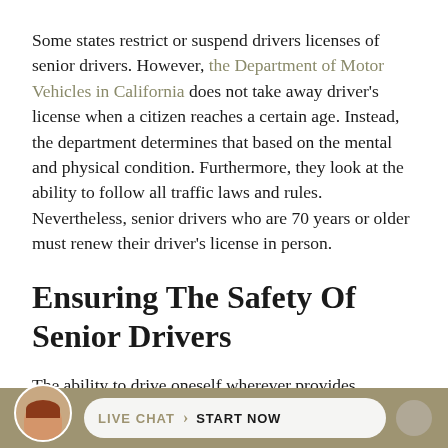Some states restrict or suspend drivers licenses of senior drivers. However, the Department of Motor Vehicles in California does not take away driver's license when a citizen reaches a certain age. Instead, the department determines that based on the mental and physical condition. Furthermore, they look at the ability to follow all traffic laws and rules. Nevertheless, senior drivers who are 70 years or older must renew their driver's license in person.
Ensuring The Safety Of Senior Drivers
The ability to drive oneself wherever provides independence. That is why losing the ability to drive will make a senior driver dependent on